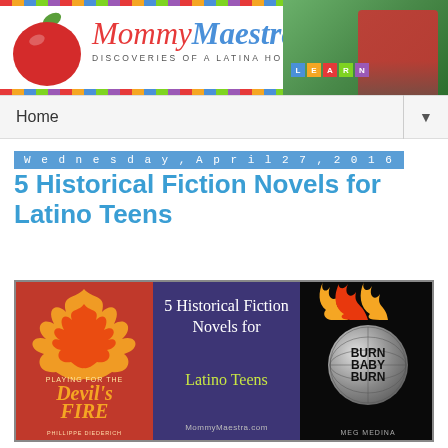[Figure (illustration): Mommy Maestra blog header banner with apple logo, red cursive title 'Mommy Maestra', subtitle 'Discoveries of a Latina Homeschooler', multicolor stripe border, and photo of smiling child on right]
Home ▼
Wednesday, April 27, 2016
5 Historical Fiction Novels for Latino Teens
[Figure (illustration): Composite image showing three book covers: 'Playing for the Devil's Fire' by Phillippe Diederich on left with red flame design, center panel with text '5 Historical Fiction Novels for Latino Teens - MommyMaestra.com' on dark purple background, and 'Burn Baby Burn' by Meg Medina on right with disco ball and flames]